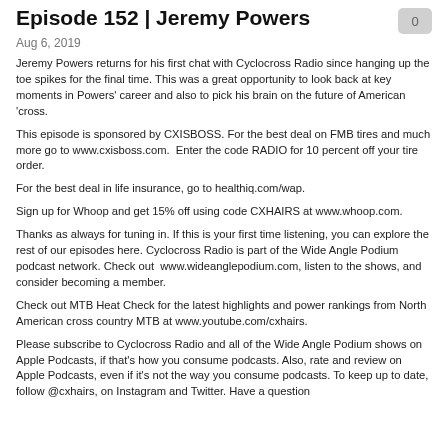Episode 152 | Jeremy Powers
Aug 6, 2019
Jeremy Powers returns for his first chat with Cyclocross Radio since hanging up the toe spikes for the final time. This was a great opportunity to look back at key moments in Powers' career and also to pick his brain on the future of American 'cross.
This episode is sponsored by CXISBOSS. For the best deal on FMB tires and much more go to www.cxisboss.com.  Enter the code RADIO for 10 percent off your tire order.
For the best deal in life insurance, go to healthiq.com/wap.
Sign up for Whoop and get 15% off using code CXHAIRS at www.whoop.com.
Thanks as always for tuning in. If this is your first time listening, you can explore the rest of our episodes here. Cyclocross Radio is part of the Wide Angle Podium podcast network. Check out  www.wideanglepodium.com, listen to the shows, and consider becoming a member.
Check out MTB Heat Check for the latest highlights and power rankings from North American cross country MTB at www.youtube.com/cxhairs.
Please subscribe to Cyclocross Radio and all of the Wide Angle Podium shows on Apple Podcasts, if that's how you consume podcasts. Also, rate and review on Apple Podcasts, even if it's not the way you consume podcasts. To keep up to date, follow @cxhairs, on Instagram and Twitter. Have a question